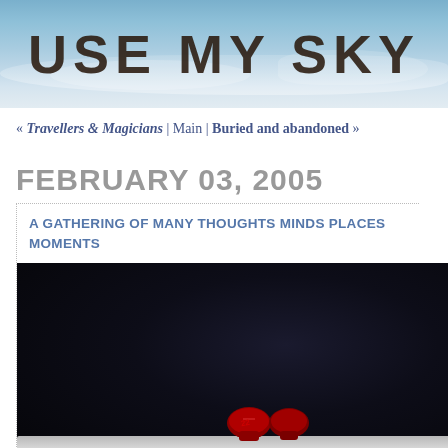[Figure (photo): Blog header banner with sky background and 'USE MY SKY' text in large dark handwritten-style letters]
« Travellers & Magicians | Main | Buried and abandoned »
FEBRUARY 03, 2005
A GATHERING OF MANY THOUGHTS MINDS PLACES MOMENTS
[Figure (photo): Dark photograph showing boxing gloves on snow/white surface against a very dark background]